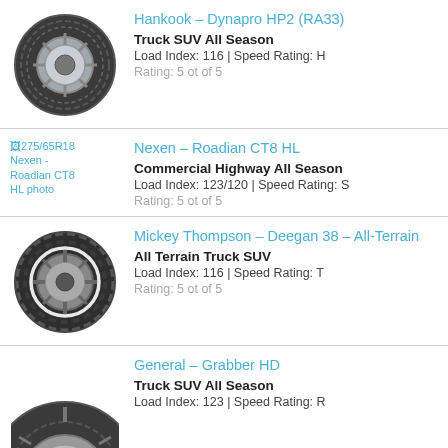[Figure (photo): Hankook Dynapro HP2 tire photo]
Hankook – Dynapro HP2 (RA33)
Truck SUV All Season
Load Index: 116 | Speed Rating: H
Rating: 5 ot of 5
[Figure (photo): Nexen Roadian CT8 HL broken image placeholder]
Nexen – Roadian CT8 HL
Commercial Highway All Season
Load Index: 123/120 | Speed Rating: S
Rating: 5 ot of 5
[Figure (photo): Mickey Thompson Deegan 38 All-Terrain tire photo]
Mickey Thompson – Deegan 38 – All-Terrain
All Terrain Truck SUV
Load Index: 116 | Speed Rating: T
Rating: 5 ot of 5
[Figure (photo): General Grabber HD tire photo (partial)]
General – Grabber HD
Truck SUV All Season
Load Index: 123 | Speed Rating: R